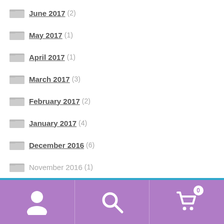June 2017 (2)
May 2017 (1)
April 2017 (1)
March 2017 (3)
February 2017 (2)
January 2017 (4)
December 2016 (6)
November 2016 (1)
Welcome to Granary Knits. Due to ongoing issues with Brexit as well as global postage prices, we are sadly unable to sell outside the UK. Dismiss
[Figure (illustration): Bottom navigation bar with user icon, search icon, and shopping cart icon with badge showing 0]